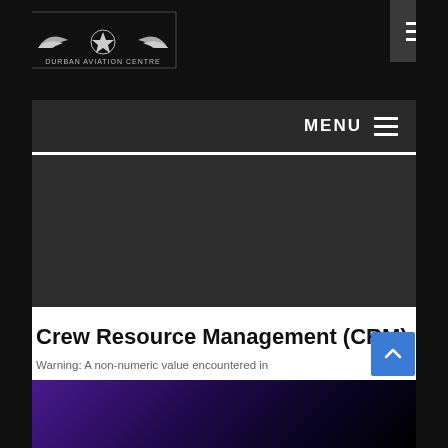[Figure (logo): Durban Aviation Centre logo with wings emblem, white on black background]
MENU
Crew Resource Management (CRM)
Warning: A non-numeric value encountered in /usr/www/users/durbazrqwww/wp-content/plugins/woocommerce/includes/abstracts/abstract-wc-product.php on line 940 Warning: A non-numeric value encountered in /usr/www/users/durbazrqwww/wp-content/plugins/woocommerce/includes/abstracts/abstract-wc-product.php on line 940